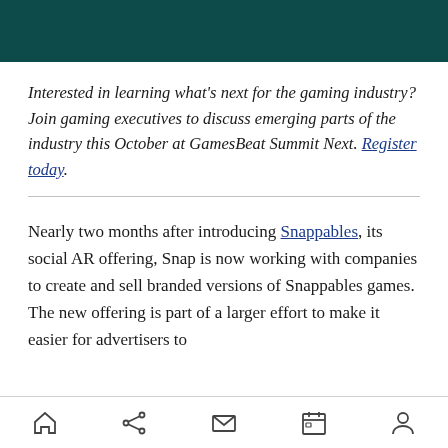Interested in learning what's next for the gaming industry? Join gaming executives to discuss emerging parts of the industry this October at GamesBeat Summit Next. Register today.
Nearly two months after introducing Snappables, its social AR offering, Snap is now working with companies to create and sell branded versions of Snappables games. The new offering is part of a larger effort to make it easier for advertisers to